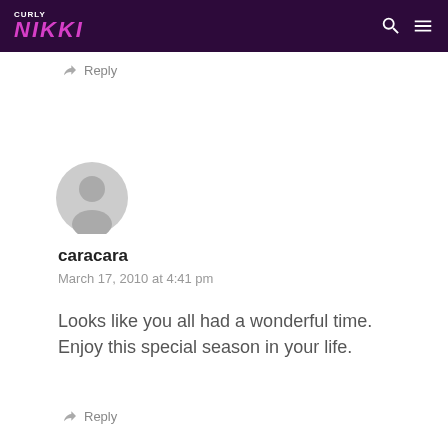Curly Nikki
Reply
[Figure (illustration): Default user avatar - grey circle with silhouette of a person]
caracara
March 17, 2010 at 4:41 pm
Looks like you all had a wonderful time. Enjoy this special season in your life.
Reply